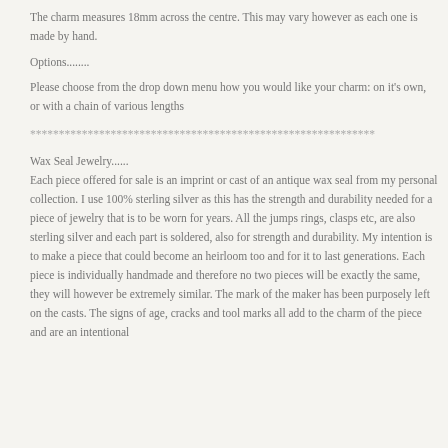The charm measures 18mm across the centre. This may vary however as each one is made by hand.
Options........
Please choose from the drop down menu how you would like your charm: on it's own,
or with a chain of various lengths
************************************************************
Wax Seal Jewelry......
Each piece offered for sale is an imprint or cast of an antique wax seal from my personal collection. I use 100% sterling silver as this has the strength and durability needed for a piece of jewelry that is to be worn for years. All the jumps rings, clasps etc, are also sterling silver and each part is soldered, also for strength and durability. My intention is to make a piece that could become an heirloom too and for it to last generations. Each piece is individually handmade and therefore no two pieces will be exactly the same, they will however be extremely similar. The mark of the maker has been purposely left on the casts. The signs of age, cracks and tool marks all add to the charm of the piece and are an intentional